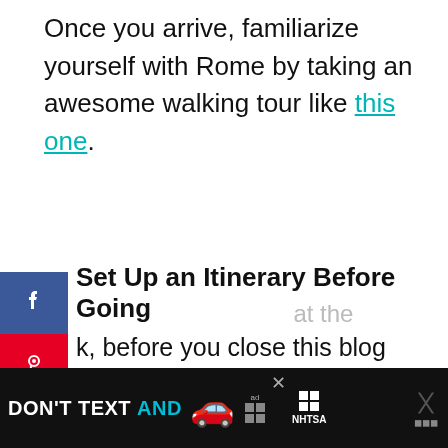Once you arrive, familiarize yourself with Rome by taking an awesome walking tour like this one.
Set Up an Itinerary Before Going
k, before you close this blog post because u're mad that I told you to set up an nerary, hear me out.
m not saying to plan every minute of every day. I'm just saying to set up a general itinerary of the places you want to see and
[Figure (screenshot): DON'T TEXT AND [car emoji] advertisement banner with ad label and NHTSA logo on black background]